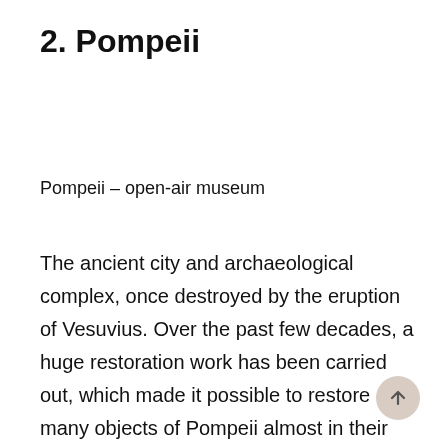2. Pompeii
Pompeii – open-air museum
The ancient city and archaeological complex, once destroyed by the eruption of Vesuvius. Over the past few decades, a huge restoration work has been carried out, which made it possible to restore many objects of Pompeii almost in their original form. Note that the famous temple of Apollo, created in the eighth century BC, is still just ruins. How majestic it was can be